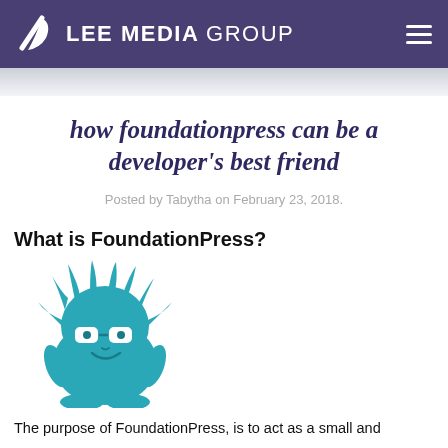LEE MEDIA GROUP
how foundationpress can be a developer's best friend
Posted by Tabytha on February 23, 2018.
What is FoundationPress?
[Figure (illustration): Teal cartoon yeti/monster mascot wearing glasses, representing FoundationPress]
The purpose of FoundationPress, is to act as a small and